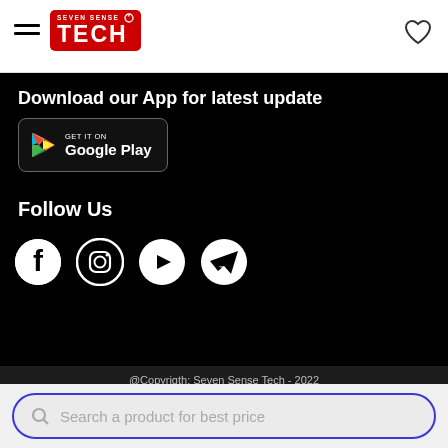Seven Sense Tech - logo and hamburger menu
Download our App for latest update
[Figure (logo): Google Play Store badge - GET IT ON Google Play]
Follow Us
[Figure (illustration): Social media icons: Facebook, Instagram, YouTube, Telegram]
@Copyrigth: Seven Sense Tech - 2022
[Figure (logo): Seven Sense Tech logo in footer]
Search a product for best price